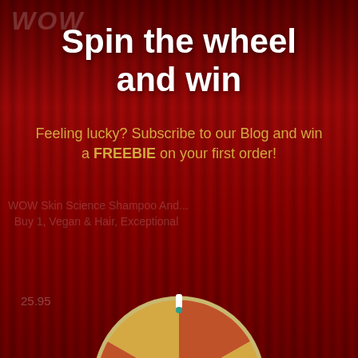Spin the wheel and win
Feeling lucky? Subscribe to our Blog and win a FREEBIE on your first order!
Your email address
TRY YOUR LUCK
[Figure (illustration): Partial view of a spin-the-wheel prize wheel at the bottom of the image, with segments in orange/red/tan colors and a white pointer at top center]